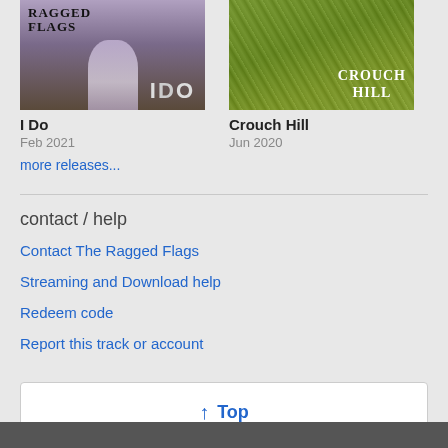[Figure (photo): Album cover for 'I Do' by The Ragged Flags, showing a figure in a white dress]
[Figure (photo): Album cover for 'Crouch Hill', showing green foliage and stone with the text 'CROUCH HILL']
I Do
Feb 2021
Crouch Hill
Jun 2020
more releases...
contact / help
Contact The Ragged Flags
Streaming and Download help
Redeem code
Report this track or account
↑ Top